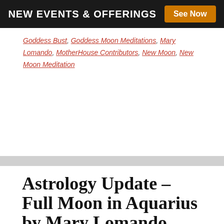NEW EVENTS & OFFERINGS  See Now
Goddess Bust, Goddess Moon Meditations, Mary Lomando, MotherHouse Contributors, New Moon, New Moon Meditation
Astrology Update – Full Moon in Aquarius by Mary Lomando
JULY 22, 2021 By MARY LOMANDO
[Figure (illustration): Book or card cover with dark blue background reading 'FULL MOON IN AQUARIUS by Mary Lomando' with a glowing blue moon graphic]
Hello Everyone, Last month's New Moon in